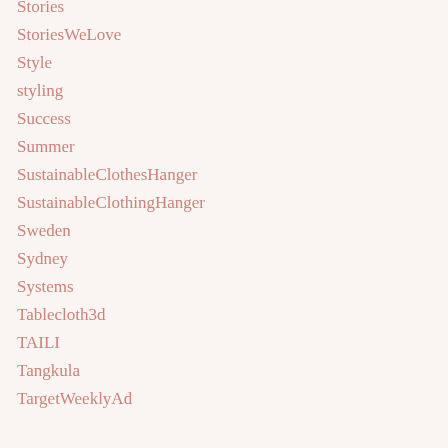Stories
StoriesWeLove
Style
styling
Success
Summer
SustainableClothesHanger
SustainableClothingHanger
Sweden
Sydney
Systems
Tablecloth3d
TAILI
Tangkula
TargetWeeklyAd